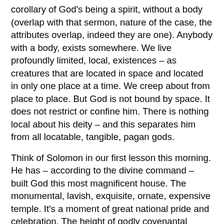corollary of God's being a spirit, without a body (overlap with that sermon, nature of the case, the attributes overlap, indeed they are one). Anybody with a body, exists somewhere. We live profoundly limited, local, existences – as creatures that are located in space and located in only one place at a time. We creep about from place to place. But God is not bound by space. It does not restrict or confine him. There is nothing local about his deity – and this separates him from all locatable, tangible, pagan gods.
Think of Solomon in our first lesson this morning. He has – according to the divine command – built God this most magnificent house. The monumental, lavish, exquisite, ornate, expensive temple. It's a moment of great national pride and celebration. The height of godly covenantal cultural achievement. Done, literally at Divine direction and with divine blessing. And in the midst of his prayer of dedication --- its as if he realizes the futility, the impotence of the whole thing, and he says – somewhat unexpectedly in this context:
"But will God indeed dwell on the earth? Behold,